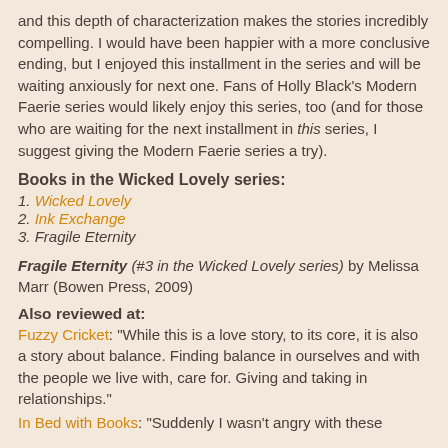and this depth of characterization makes the stories incredibly compelling. I would have been happier with a more conclusive ending, but I enjoyed this installment in the series and will be waiting anxiously for next one. Fans of Holly Black's Modern Faerie series would likely enjoy this series, too (and for those who are waiting for the next installment in this series, I suggest giving the Modern Faerie series a try).
Books in the Wicked Lovely series:
1. Wicked Lovely
2. Ink Exchange
3. Fragile Eternity
Fragile Eternity (#3 in the Wicked Lovely series) by Melissa Marr (Bowen Press, 2009)
Also reviewed at:
Fuzzy Cricket: "While this is a love story, to its core, it is also a story about balance. Finding balance in ourselves and with the people we live with, care for. Giving and taking in relationships."
In Bed with Books: "Suddenly I wasn't angry with these